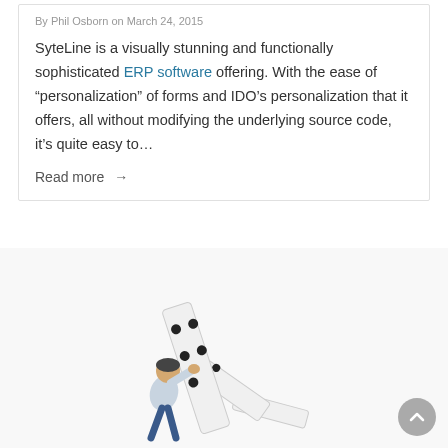By Phil Osborn on March 24, 2015
SyteLine is a visually stunning and functionally sophisticated ERP software offering. With the ease of “personalization” of forms and IDO’s personalization that it offers, all without modifying the underlying source code, it’s quite easy to…
Read more →
[Figure (illustration): Person pushing large falling domino tiles]